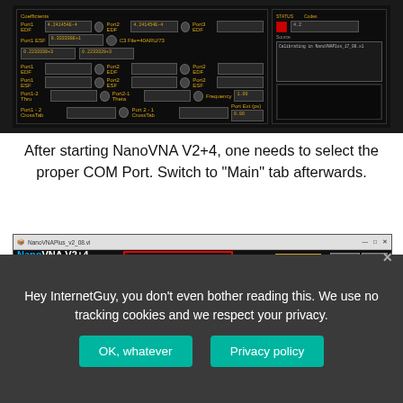[Figure (screenshot): NanoVNA V2+4 software screenshot showing coefficients panel with Port ESF/EDF fields and a status/error log panel on the right]
After starting NanoVNA V2+4, one needs to select the proper COM Port. Switch to “Main” tab afterwards.
[Figure (screenshot): NanoVNA V2+4 application window showing the main interface with protocol box highlighted in red border and Link button highlighted in yellow/gold border, plus Smith chart display]
Hey InternetGuy, you don’t even bother reading this. We use no tracking cookies and we respect your privacy.
OK, whatever
Privacy policy